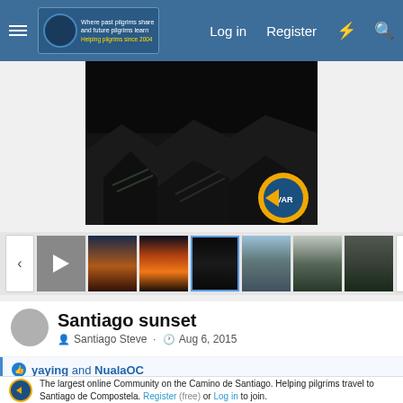Log in  Register
[Figure (photo): Main dark photo of Santiago rooftops at night with a circular logo visible in lower right corner]
[Figure (photo): Thumbnail strip with navigation arrows and 7 photo thumbnails including sunsets, cityscape, bridge, and trees]
Santiago sunset
Santiago Steve · Aug 6, 2015
yaying and NualaOC
The largest online Community on the Camino de Santiago. Helping pilgrims travel to Santiago de Compostela. Register (free) or Log in to join.